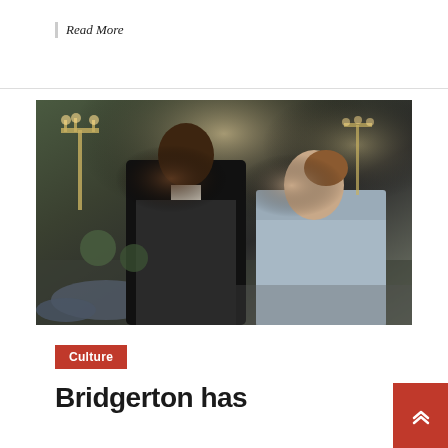Read More
[Figure (photo): Scene from Bridgerton TV show showing two actors in Regency-era costumes — a man in a black coat and a woman in a pale blue dress — standing in a decorated ballroom with candelabras and blue flowers in the background.]
Culture
Bridgerton has